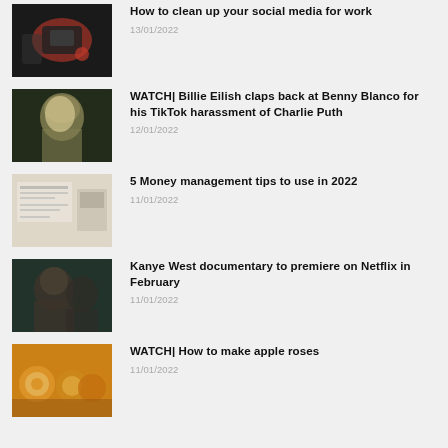How to clean up your social media for work
13/01/2022
WATCH| Billie Eilish claps back at Benny Blanco for his TikTok harassment of Charlie Puth
12/01/2022
5 Money management tips to use in 2022
11/01/2022
Kanye West documentary to premiere on Netflix in February
11/01/2022
WATCH| How to make apple roses
11/01/2022